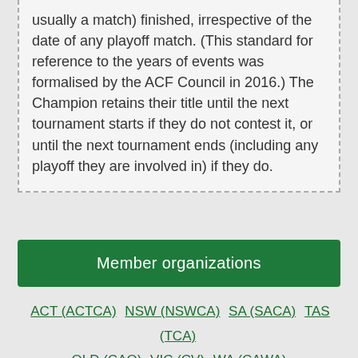usually a match) finished, irrespective of the date of any playoff match. (This standard for reference to the years of events was formalised by the ACF Council in 2016.) The Champion retains their title until the next tournament starts if they do not contest it, or until the next tournament ends (including any playoff they are involved in) if they do.
Member organizations
ACT (ACTCA)
NSW (NSWCA)
SA (SACA)
TAS (TCA)
QLD (CAQ)
VIC (CV)
WA (CAWA)